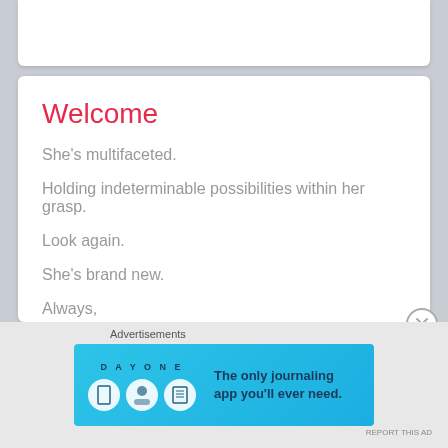Welcome
She's multifaceted.
Holding indeterminable possibilities within her grasp.
Look again.
She's brand new.
Always,
Your Trusted Friend ❤
Advertisements
[Figure (screenshot): DAY ONE app advertisement banner: 'The only journaling app you'll ever need.' with app icon illustrations on a blue background.]